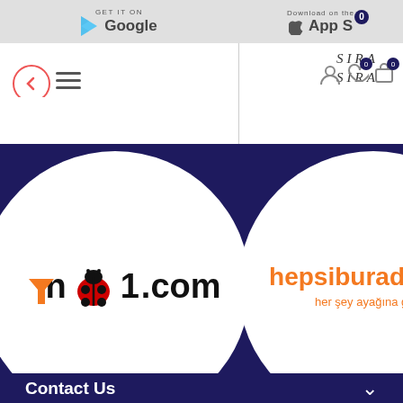[Figure (screenshot): Mobile website screenshot showing a Turkish e-commerce platform (Sira Sira) with navigation header, Google Play and App Store download buttons, n11.com and hepsiburada.com marketplace partner logos in circular frames on dark navy background, Contact Us and Information accordion sections, Follow Us section with social media icons (WhatsApp, Instagram, Twitter), and a scroll-to-top button.]